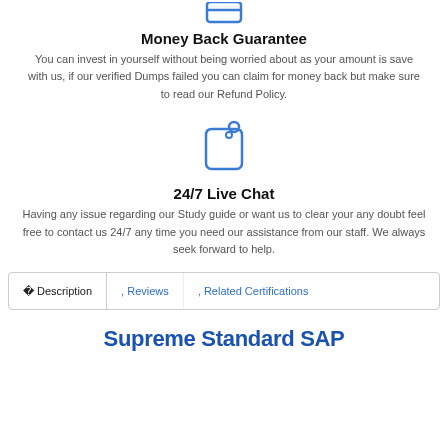[Figure (illustration): Blue icon of a shield or document at the top (partially cut off)]
Money Back Guarantee
You can invest in yourself without being worried about as your amount is save with us, if our verified Dumps failed you can claim for money back but make sure to read our Refund Policy.
[Figure (illustration): Blue price tag icon]
24/7 Live Chat
Having any issue regarding our Study guide or want us to clear your any doubt feel free to contact us 24/7 any time you need our assistance from our staff. We always seek forward to help.
Description   Reviews   Related Certifications
Supreme Standard SAP